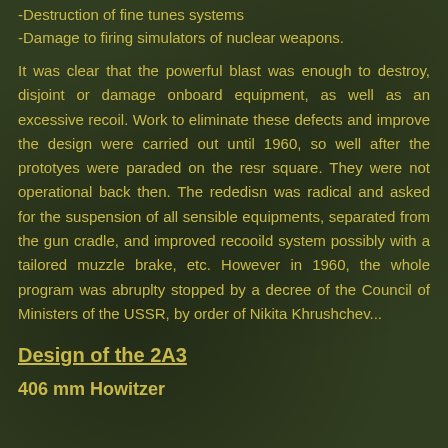-Destruction of fine tunes systems
-Damage to firing simulators of nuclear weapons.
It was clear that the powerful blast was enough to destroy, disjoint or damage onboard equipment, as well as an excessive recoil. Work to eliminate these defects and improve the design were carried out until 1960, so well after the prototyes were paraded on the resr square. They were not operational back then. The rededisn was radical and asked for the suspension of all sensible equipments, separated from the gun cradle, and improved recooild system possibly with a tailored muzzle brake, etc. However in 1960, the whole program was abruplty stopped by a decree of the Council of Ministers of the USSR, by order of Nikita Khrushchev...
Design of the 2A3
406 mm Howitzer